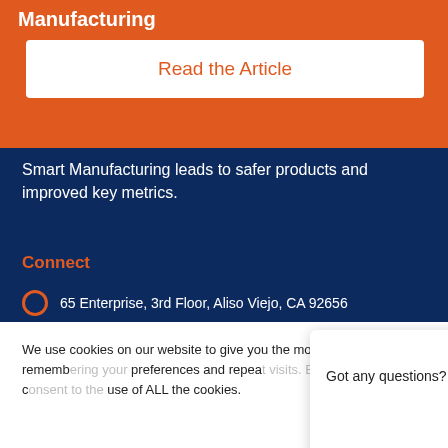Manufacturing
Read the Article
Smart Manufacturing leads to safer products and improved key metrics.
Connect
65 Enterprise, 3rd Floor, Aliso Viejo, CA 92656
We use cookies on our website to give you the most relevant experience by remembering your preferences and repeat visits. By clicking “Accept”, you consent to the use of ALL the cookies.
ACCEPT
Cookie settings
Got any questions? I’m happy to help.